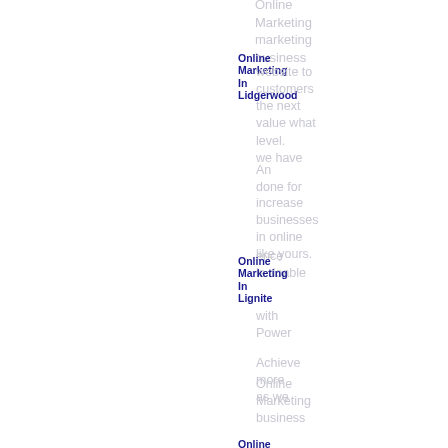Online
Marketing
marketing
business
Online
Marketing
In
Lidgerwood
website to
customers
the next
value what
level.
we have
An
done for
increase
businesses
in online
like yours.
ence
is doable
Online
Marketing
In
Lignite
with
Power
Achieve
more
as we
Online
Marketing
business
Online
Marketing
In Linton
plan
held your
Online
To
power